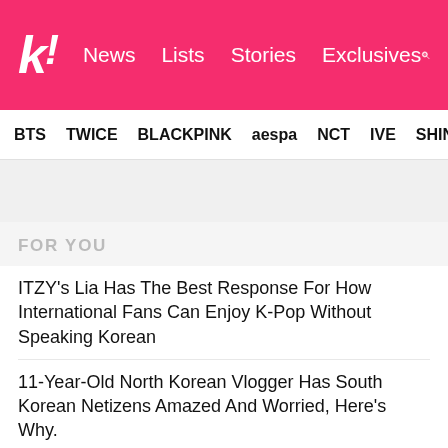koreaboo - News | Lists | Stories | Exclusives
BTS  TWICE  BLACKPINK  aespa  NCT  IVE  SHINee
FOR YOU
ITZY's Lia Has The Best Response For How International Fans Can Enjoy K-Pop Without Speaking Korean
11-Year-Old North Korean Vlogger Has South Korean Netizens Amazed And Worried, Here's Why.
TWICE's Nayeon Is A Language Genius, According To Stray Kids' Bang Chan
Which K-Pop Idol Would Wear This, Except It's Literally SHINee's Key
Jun Debuts A New Hairstyle At SEVENTEEN's Toronto